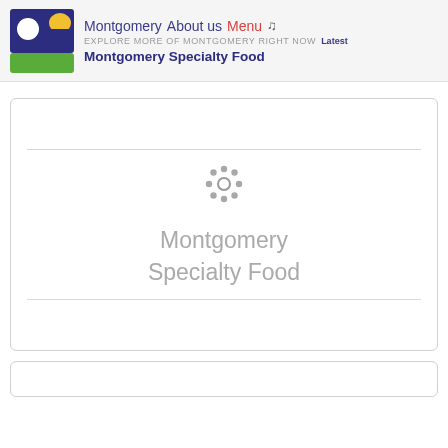Montgomery  About us  Menu ♪  EXPLORE MORE OF MONTGOMERY RIGHT NOW  Latest  Montgomery Specialty Food
[Figure (logo): Montgomery logo: dark blue square with white circle and yellow/orange semicircle at top, green rectangle at bottom]
Montgomery Specialty Food